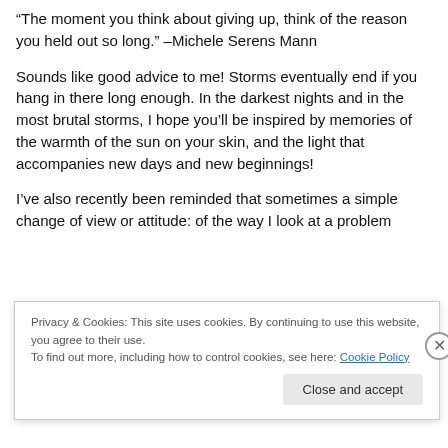“The moment you think about giving up, think of the reason you held out so long.” –Michele Serens Mann
Sounds like good advice to me! Storms eventually end if you hang in there long enough. In the darkest nights and in the most brutal storms, I hope you’ll be inspired by memories of the warmth of the sun on your skin, and the light that accompanies new days and new beginnings!
I’ve also recently been reminded that sometimes a simple change of view or attitude: of the way I look at a problem
Privacy & Cookies: This site uses cookies. By continuing to use this website, you agree to their use.
To find out more, including how to control cookies, see here: Cookie Policy